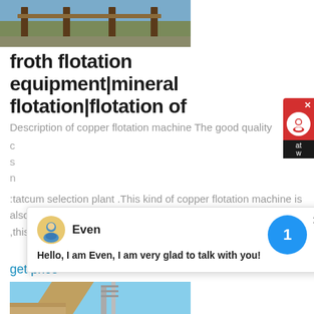[Figure (photo): Industrial site with pillars and construction equipment]
froth flotation equipment|mineral flotation|flotation of
Description of copper flotation machine The good quality copper flotation machine is used for sorting metal materials such as steel, iron, copper, aluminum...at flotation selection plant .This kind of copper flotation machine is also named copper flotation machine or copper flotation machine ,this kind of
get price
[Figure (photo): Building construction with scaffolding against blue sky]